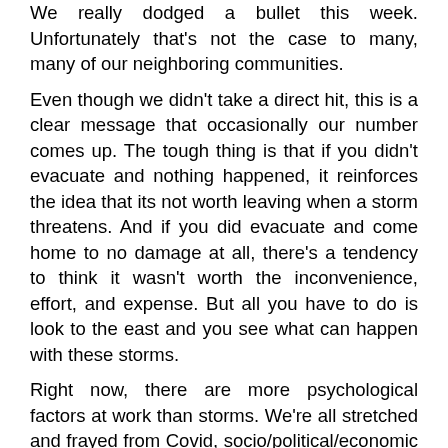We really dodged a bullet this week. Unfortunately that's not the case to many, many of our neighboring communities.
Even though we didn't take a direct hit, this is a clear message that occasionally our number comes up. The tough thing is that if you didn't evacuate and nothing happened, it reinforces the idea that its not worth leaving when a storm threatens. And if you did evacuate and come home to no damage at all, there's a tendency to think it wasn't worth the inconvenience, effort, and expense. But all you have to do is look to the east and you see what can happen with these storms.
Right now, there are more psychological factors at work than storms. We're all stretched and frayed from Covid, socio/political/economic factors, and nearing the end of a busy, crazy summer. When planning for this storm, there was, understandably, quite a bit of resistance to acknowledgment that this could be a serious thing and